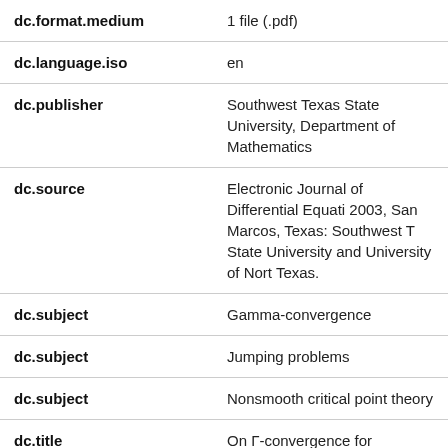| Field | Value |
| --- | --- |
| dc.format.medium | 1 file (.pdf) |
| dc.language.iso | en |
| dc.publisher | Southwest Texas State University, Department of Mathematics |
| dc.source | Electronic Journal of Differential Equati 2003, San Marcos, Texas: Southwest T State University and University of Nort Texas. |
| dc.subject | Gamma-convergence |
| dc.subject | Jumping problems |
| dc.subject | Nonsmooth critical point theory |
| dc.title | On Γ-convergence for problems of jum type |
| dc.type | publishedVersion |
| txstate.documenttype | Article |